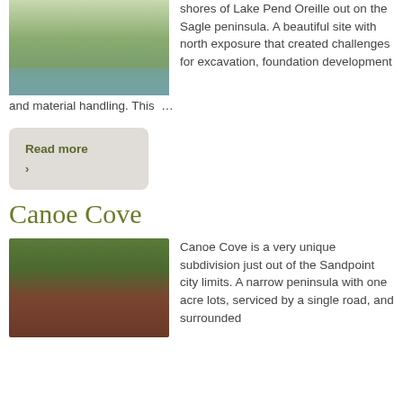[Figure (photo): Photo of a lakehouse/lodge building on the shores of a lake, surrounded by green vegetation]
shores of Lake Pend Oreille out on the Sagle peninsula. A beautiful site with north exposure that created challenges for excavation, foundation development and material handling. This …
Read more ›
Canoe Cove
[Figure (photo): Photo of a red/brown house or cabin surrounded by large trees]
Canoe Cove is a very unique subdivision just out of the Sandpoint city limits. A narrow peninsula with one acre lots, serviced by a single road, and surrounded